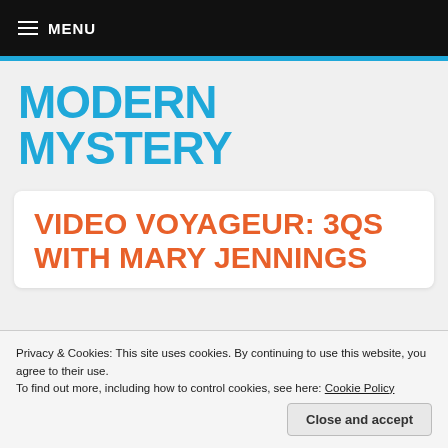≡ MENU
MODERN MYSTERY
VIDEO VOYAGEUR: 3QS WITH MARY JENNINGS
Privacy & Cookies: This site uses cookies. By continuing to use this website, you agree to their use.
To find out more, including how to control cookies, see here: Cookie Policy
Close and accept
[Figure (photo): Colorful photo strip at the bottom of the page]